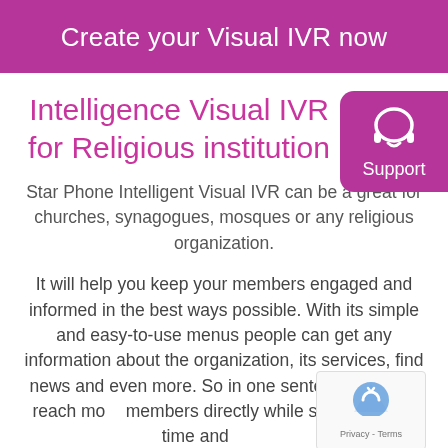Create your Visual IVR now
Intelligence Visual IVR for Religious institution
Star Phone Intelligent Visual IVR can be a great for churches, synagogues, mosques or any religious organization.
It will help you keep your members engaged and informed in the best ways possible. With its simple and easy-to-use menus people can get any information about the organization, its services, find news and even more. So in one sentence, you will reach more members directly while spending less time and money.
This application gives you the possibility to